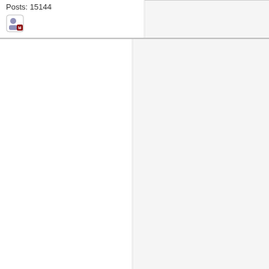Posts: 15144
[Figure (other): User/moderator icon - person with badge]
Trini_2026
Hero Warrior
[Figure (other): Five yellow star/rank squares]
[Figure (photo): User avatar photo - person wearing hat]
Re: Thread for T&T vs Guyana G
« Reply #10 on: January 19, 2021, 11:57
Quote from: Palmer on January 19, 2021,
https://www.instagram.com/p/CKO6w5z